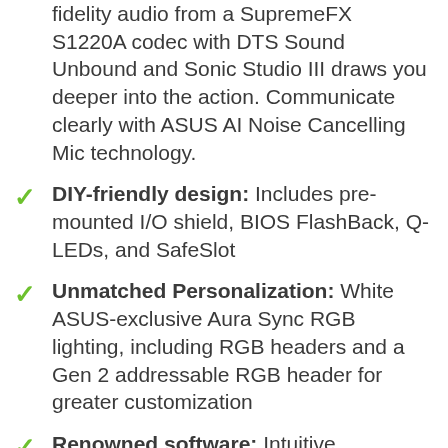fidelity audio from a SupremeFX S1220A codec with DTS Sound Unbound and Sonic Studio III draws you deeper into the action. Communicate clearly with ASUS AI Noise Cancelling Mic technology.
DIY-friendly design: Includes pre-mounted I/O shield, BIOS FlashBack, Q-LEDs, and SafeSlot
Unmatched Personalization: White ASUS-exclusive Aura Sync RGB lighting, including RGB headers and a Gen 2 addressable RGB header for greater customization
Renowned software: Intuitive dashboards for UEFI BIOS and ASUS AI Networking make it easy to configure gaming builds
Please ensure your BIOS is up to date if